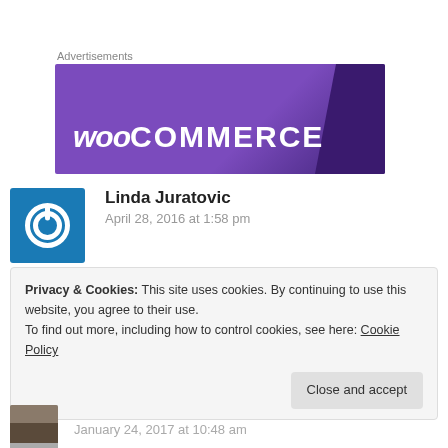Advertisements
[Figure (logo): WooCommerce advertisement banner with purple gradient background and white WooCommerce logo text]
[Figure (photo): Blue square avatar icon with white power button symbol]
Linda Juratovic
April 28, 2016 at 1:58 pm
Did you paint it? Do you know what this is worth? Beautiful piece!
Privacy & Cookies: This site uses cookies. By continuing to use this website, you agree to their use.
To find out more, including how to control cookies, see here: Cookie Policy
Close and accept
January 24, 2017 at 10:48 am